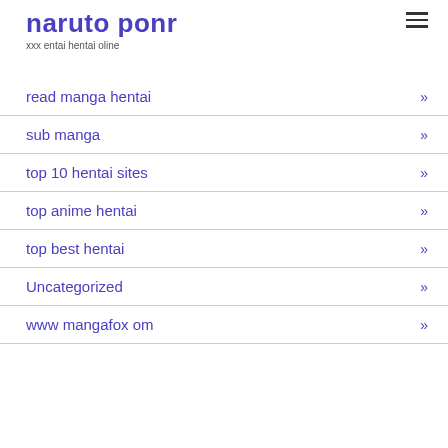naruto ponr
xxx entai hentai oline
read manga hentai
sub manga
top 10 hentai sites
top anime hentai
top best hentai
Uncategorized
www mangafox om